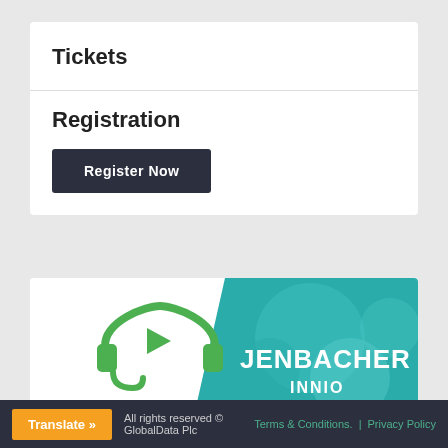Tickets
Registration
Register Now
[Figure (illustration): Jenbacher INNIO Webinar 2021 promotional banner with headset icon, teal diagonal design, JENBACHER and INNIO logos, and 'Ready for H2' badge]
All rights reserved © GlobalData Plc  Translate »  Terms & Conditions.  |  Privacy Policy